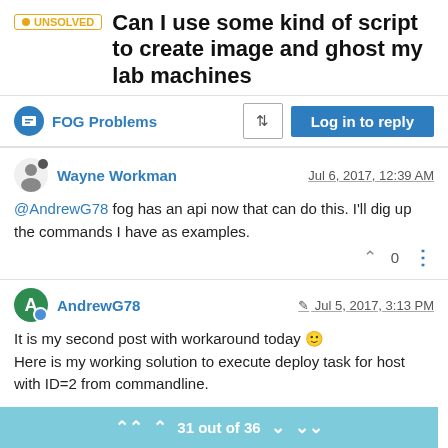UNSOLVED Can I use some kind of script to create image and ghost my lab machines
FOG Problems
Wayne Workman  Jul 6, 2017, 12:39 AM
@AndrewG78 fog has an api now that can do this. I'll dig up the commands I have as examples.
AndrewG78  Jul 5, 2017, 3:13 PM
It is my second post with workaround today 🙂
Here is my working solution to execute deploy task for host with ID=2 from commandline.
31 out of 36